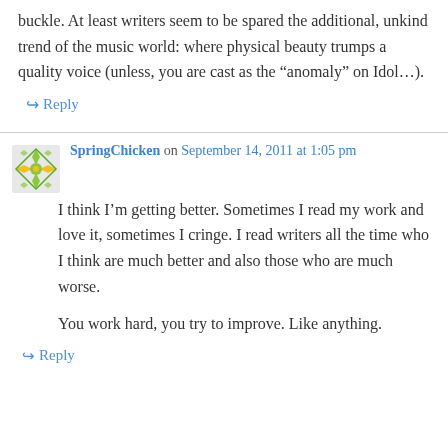buckle. At least writers seem to be spared the additional, unkind trend of the music world: where physical beauty trumps a quality voice (unless, you are cast as the “Anomaly” on Idol…).
↪ Reply
SpringChicken on September 14, 2011 at 1:05 pm
I think I’m getting better. Sometimes I read my work and love it, sometimes I cringe. I read writers all the time who I think are much better and also those who are much worse.

You work hard, you try to improve. Like anything.
↪ Reply